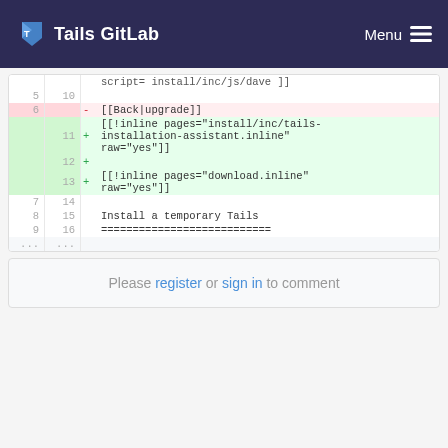Tails GitLab  Menu
| old | new | sign | content |
| --- | --- | --- | --- |
|  |  |  | script= install/inc/js/dave ]] |
| 5 | 10 |  |  |
| 6 |  | - | [[Back|upgrade]] |
|  | 11 | + | [[!inline pages="install/inc/tails-installation-assistant.inline" raw="yes"]] |
|  | 12 | + |  |
|  | 13 | + | [[!inline pages="download.inline" raw="yes"]] |
| 7 | 14 |  |  |
| 8 | 15 |  | Install a temporary Tails |
| 9 | 16 |  | =========================== |
| ... | ... |  |  |
Please register or sign in to comment